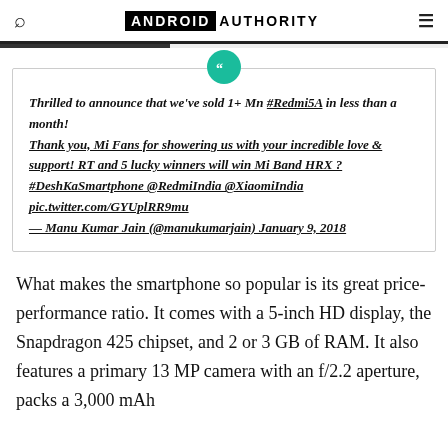ANDROID AUTHORITY
Thrilled to announce that we've sold 1+ Mn #Redmi5A in less than a month! Thank you, Mi Fans for showering us with your incredible love & support! RT and 5 lucky winners will win Mi Band HRX ? #DeshKaSmartphone @RedmiIndia @XiaomiIndia pic.twitter.com/GYUplRR9mu — Manu Kumar Jain (@manukumarjain) January 9, 2018
What makes the smartphone so popular is its great price-performance ratio. It comes with a 5-inch HD display, the Snapdragon 425 chipset, and 2 or 3 GB of RAM. It also features a primary 13 MP camera with an f/2.2 aperture, packs a 3,000 mAh